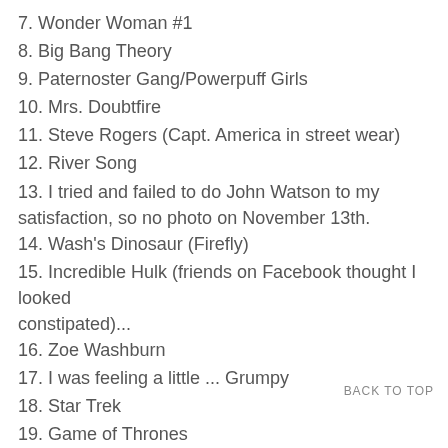7. Wonder Woman #1
8. Big Bang Theory
9. Paternoster Gang/Powerpuff Girls
10. Mrs. Doubtfire
11. Steve Rogers (Capt. America in street wear)
12. River Song
13. I tried and failed to do John Watson to my satisfaction, so no photo on November 13th.
14. Wash's Dinosaur (Firefly)
15. Incredible Hulk (friends on Facebook thought I looked constipated)...
16. Zoe Washburn
17. I was feeling a little ... Grumpy
18. Star Trek
19. Game of Thrones
20. Yoda
BACK TO TOP